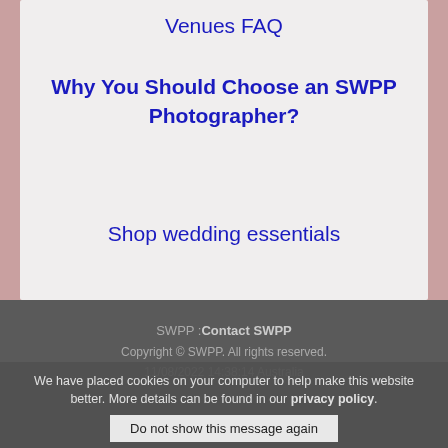Venues FAQ
Why You Should Choose an SWPP Photographer?
Shop wedding essentials
Free Information Pack SWPP Membership
SWPP : Contact SWPP
Copyright © SWPP. All rights reserved.
11/08/2022 14:38:14 Australia
We have placed cookies on your computer to help make this website better. More details can be found in our privacy policy.
Do not show this message again